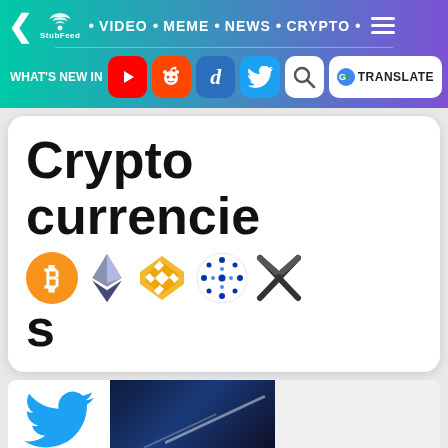StubFeed • VIDEO • MEME • NEWS • CRYPTO navigation bar with social icons: YouTube, Reddit, Digg, Twitter, Search, Google Translate
Cryptocurrencies
[Figure (logo): Cryptocurrency logos: Bitcoin (orange coin), Ethereum (grey diamond), Binance (yellow diamond), Cardano (blue dots), Ripple XRP (X mark)]
[Figure (logo): Twitter bird logo (blue) and a dark space/tech background image at the bottom of the page]